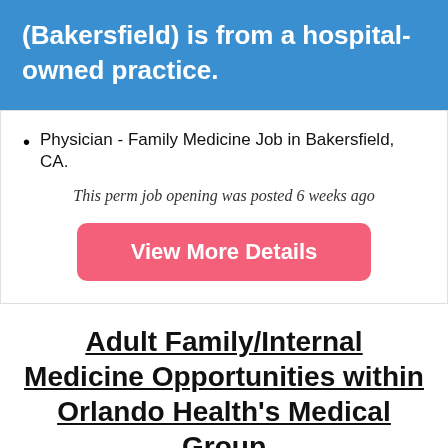(Bakersfield) is from a hospital-owned practice.
Physician - Family Medicine Job in Bakersfield, CA.
This perm job opening was posted 6 weeks ago
View More Details
Adult Family/Internal Medicine Opportunities within Orlando Health's Medical Group